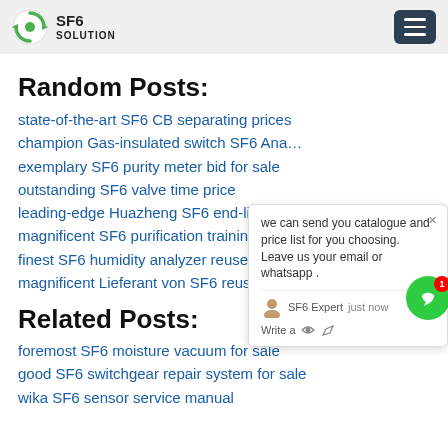SF6 SOLUTION
Random Posts:
state-of-the-art SF6 CB separating prices
champion Gas-insulated switch SF6 Ana…
exemplary SF6 purity meter bid for sale
outstanding SF6 valve time price
leading-edge Huazheng SF6 end-life fac…
magnificent SF6 purification training…
finest SF6 humidity analyzer reuse
magnificent Lieferant von SF6 reuse manufacturers
Related Posts:
foremost SF6 moisture vacuum for sale
good SF6 switchgear repair system for sale
wika SF6 sensor service manual